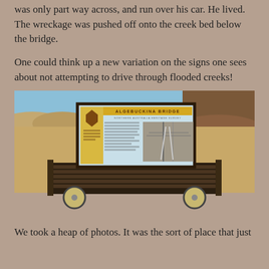was only part way across, and run over his car. He lived. The wreckage was pushed off onto the creek bed below the bridge.
One could think up a new variation on the signs one sees about not attempting to drive through flooded creeks!
[Figure (photo): Photograph of an informational display sign titled 'ALGEBUCKINA BRIDGE' mounted on a wooden railway cart with large wheels, set against an outback Australian landscape with dirt road, rocky hills, and blue sky.]
We took a heap of photos. It was the sort of place that just